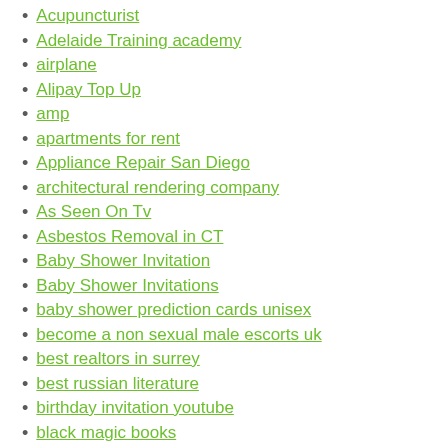Acupuncturist
Adelaide Training academy
airplane
Alipay Top Up
amp
apartments for rent
Appliance Repair San Diego
architectural rendering company
As Seen On Tv
Asbestos Removal in CT
Baby Shower Invitation
Baby Shower Invitations
baby shower prediction cards unisex
become a non sexual male escorts uk
best realtors in surrey
best russian literature
birthday invitation youtube
black magic books
black magic spells